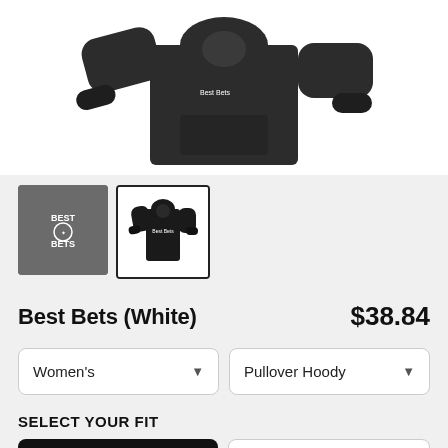[Figure (photo): Dark gray/black pullover hoodie product photo shown from front, with folded view and arms extended, displayed on white background]
[Figure (photo): Two product thumbnails: first is a gray square with Best Bets logo in white, second is a white-background image of a dark pullover hoodie with white logo, outlined with black border]
Best Bets (White)
$38.84
Women's
Pullover Hoody
SELECT YOUR FIT
$38.84
French Terry
$44.19
Sponge Fleece